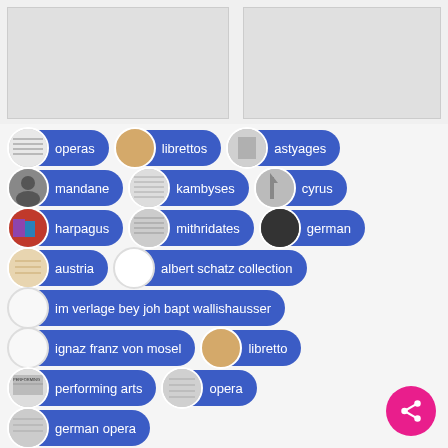[Figure (screenshot): Two placeholder image panels side by side at top of page]
operas
librettos
astyages
mandane
kambyses
cyrus
harpagus
mithridates
german
austria
albert schatz collection
im verlage bey joh bapt wallishausser
ignaz franz von mosel
libretto
performing arts
opera
german opera